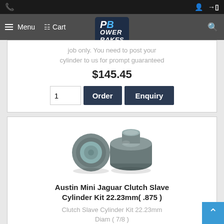Power Brakes — Menu | Cart | Search
job only. You need to post your cylinder to us for prompt guaranteed
$145.45
Order | Enquiry (quantity: 1)
[Figure (photo): Two clutch slave cylinder kit parts — a flat circular rubber cup seal and a cylindrical metal component with a protruding neck]
Austin Mini Jaguar Clutch Slave Cylinder Kit 22.23mm( .875 )
Clutch Slave Cylinder Kit 22.23mm Diam ( 7/8 )